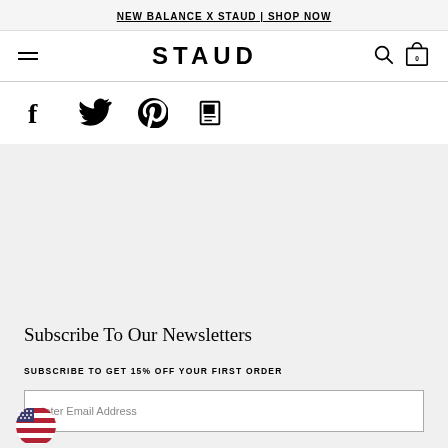NEW BALANCE X STAUD | SHOP NOW
STAUD
[Figure (logo): Hamburger menu icon (three horizontal lines)]
[Figure (other): Search icon (magnifying glass)]
[Figure (other): Cart icon with count 0]
[Figure (other): Social media icons: Facebook, Twitter, Pinterest, Share]
Subscribe To Our Newsletters
SUBSCRIBE TO GET 15% OFF YOUR FIRST ORDER
Enter Email Address
[Figure (illustration): US flag badge / geolocation indicator in bottom left corner]